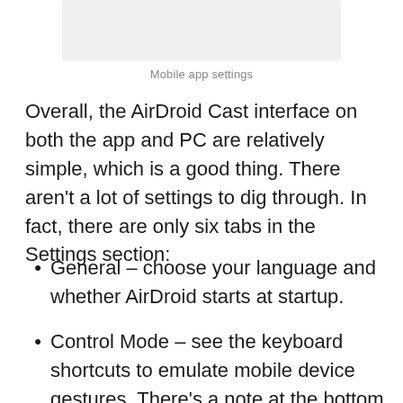[Figure (screenshot): Screenshot of mobile app settings panel]
Mobile app settings
Overall, the AirDroid Cast interface on both the app and PC are relatively simple, which is a good thing. There aren't a lot of settings to dig through. In fact, there are only six tabs in the Settings section:
General – choose your language and whether AirDroid starts at startup.
Control Mode – see the keyboard shortcuts to emulate mobile device gestures. There's a note at the bottom about mouse controls